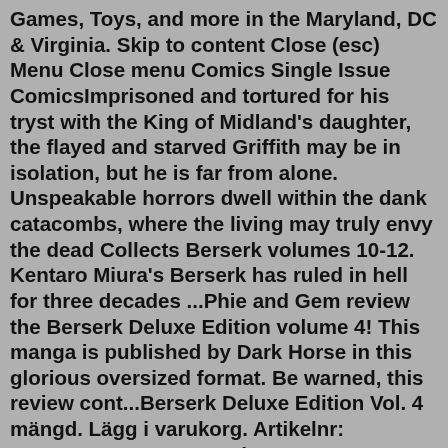Games, Toys, and more in the Maryland, DC & Virginia. Skip to content Close (esc) Menu Close menu Comics Single Issue ComicsImprisoned and tortured for his tryst with the King of Midland's daughter, the flayed and starved Griffith may be in isolation, but he is far from alone. Unspeakable horrors dwell within the dank catacombs, where the living may truly envy the dead Collects Berserk volumes 10-12. Kentaro Miura's Berserk has ruled in hell for three decades ...Phie and Gem review the Berserk Deluxe Edition volume 4! This manga is published by Dark Horse in this glorious oversized format. Be warned, this review cont...Berserk Deluxe Edition Vol. 4 mängd. Lägg i varukorg. Artikelnr: 9781506715216 Kategori: Manga. Beskrivning Recensioner (0) Beskrivning. Warrior supreme Guts has returned- and just in time to save the weakened Band of the Hawk from certain destruction - and to form an intimate bond with the beautiful warrior Casca. But job one is to find a ...Imprisoned and tortured for his tryst with the King of Midland's